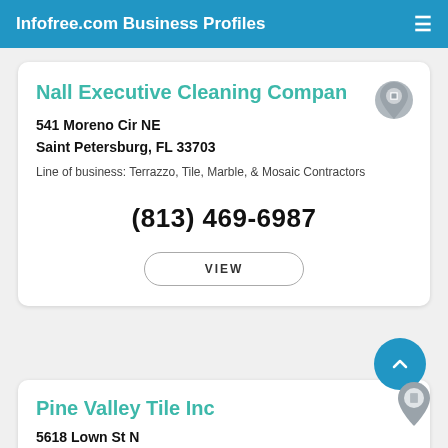Infofree.com Business Profiles
Nall Executive Cleaning Compan
541 Moreno Cir NE
Saint Petersburg, FL 33703
Line of business: Terrazzo, Tile, Marble, & Mosaic Contractors
(813) 469-6987
VIEW
Pine Valley Tile Inc
5618 Lown St N